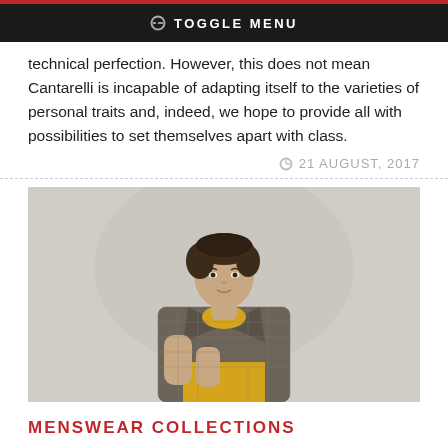TOGGLE MENU
technical perfection. However, this does not mean Cantarelli is incapable of adapting itself to the varieties of personal traits and, indeed, we hope to provide all with possibilities to set themselves apart with class.
21 AUGUST, 2017
[Figure (photo): Fashion photo of a young man with dark hair wearing a yellow sweater under a grey plaid blazer, standing against a light grey background, with hands clasped at chest.]
MENSWEAR COLLECTIONS